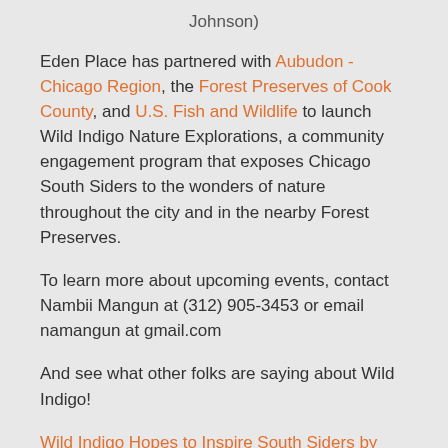Johnson)
Eden Place has partnered with Aubudon - Chicago Region, the Forest Preserves of Cook County, and U.S. Fish and Wildlife to launch Wild Indigo Nature Explorations, a community engagement program that exposes Chicago South Siders to the wonders of nature throughout the city and in the nearby Forest Preserves.
To learn more about upcoming events, contact Nambii Mangun at (312) 905-3453 or email namangun at gmail.com
And see what other folks are saying about Wild Indigo!
Wild Indigo Hopes to Inspire South Siders by Introducing Them to Nature, by Justin Breen, dnainfo.com
Adventures in the Calumet Region, FPCDD Blog